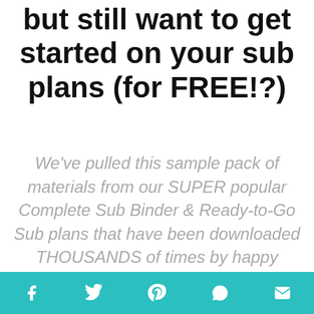but still want to get started on your sub plans (for FREE!?)
We've pulled this sample pack of materials from our SUPER popular Complete Sub Binder & Ready-to-Go Sub plans that have been downloaded THOUSANDS of times by happy teachers!
Social share bar with Facebook, Twitter, Pinterest, WhatsApp, Email icons